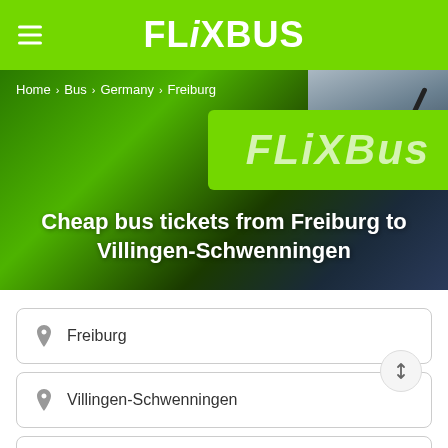FLiXBUS
[Figure (photo): FlixBus green bus with logo visible, dark windshield with wiper arm, used as hero background image]
Home > Bus > Germany > Freiburg
Cheap bus tickets from Freiburg to Villingen-Schwenningen
Freiburg
Villingen-Schwenningen
Wed, 24 Aug